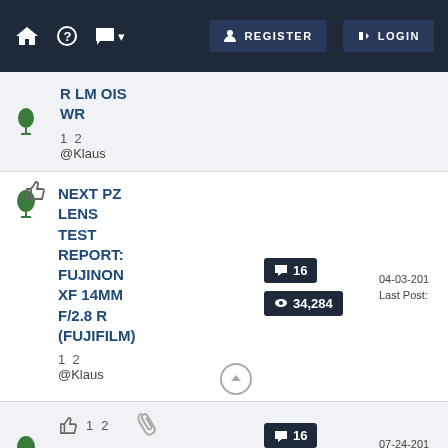REGISTER LOGIN
R LM OIS WR
1  2
@Klaus
NEXT PZ LENS TEST REPORT: FUJINON XF 14MM F/2.8 R (FUJIFILM)
16 comments  34,284 views
1  2
@Klaus
04-03-201  Last Post:
FUJINON XF 200MM F/2 R LM
16 comments  16,282 views
1  2
07-24-201  Last Po